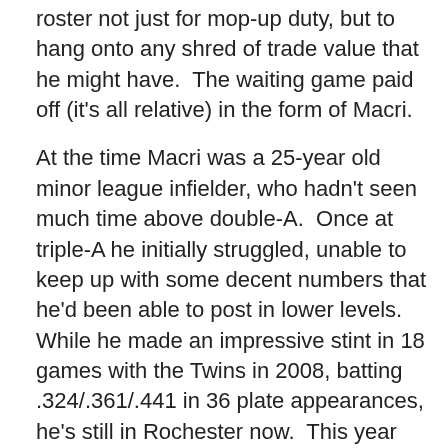roster not just for mop-up duty, but to hang onto any shred of trade value that he might have.  The waiting game paid off (it's all relative) in the form of Macri.
At the time Macri was a 25-year old minor league infielder, who hadn't seen much time above double-A.  Once at triple-A he initially struggled, unable to keep up with some decent numbers that he'd been able to post in lower levels.  While he made an impressive stint in 18 games with the Twins in 2008, batting .324/.361/.441 in 36 plate appearances,  he's still in Rochester now.  This year he's hitting .273/.336/.429.
August 25, 2008
Minnesota Twins trade Mark Hamburger to the Texas Rangers for Eddie Guardado
The talks had gone on for a while, and even after they put a claim on him in August they didn't think the